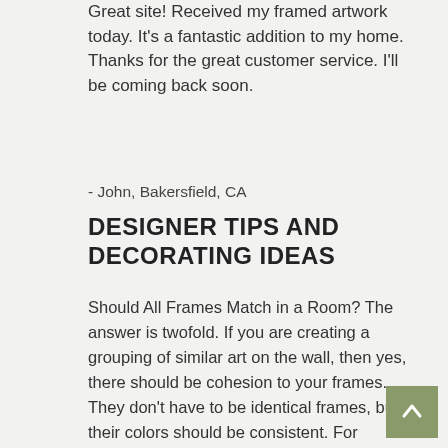Great site! Received my framed artwork today. It's a fantastic addition to my home. Thanks for the great customer service. I'll be coming back soon.
- John, Bakersfield, CA
DESIGNER TIPS AND DECORATING IDEAS
Should All Frames Match in a Room? The answer is twofold. If you are creating a grouping of similar art on the wall, then yes, there should be cohesion to your frames. They don't have to be identical frames, but their colors should be consistent. For example, variations of black frames. This way, the focus is on the artwork or the photography, rather than on the huge assortment of frames. However, if you are adding singular pieces, dispersed throughout a room, than you can use different frames. Each artwork should have the most suitable frame, complimenting it and the room's